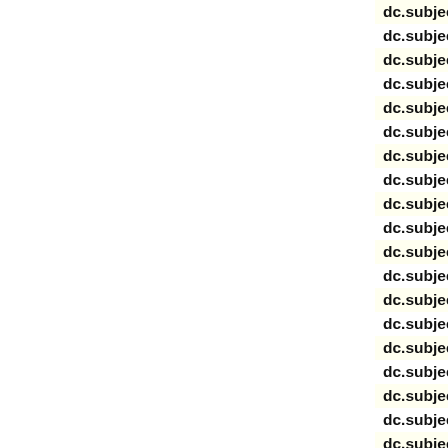| field | value |
| --- | --- |
| dc.subject | John, Egethoff |
| dc.subject | Silas, Edmimds |
| dc.subject | Pellam, Ellis |
| dc.subject | Henry, Eder |
| dc.subject | John, Eder |
| dc.subject | George, Engel |
| dc.subject | Christopher, Eg |
| dc.subject | Andrew, Ernst |
| dc.subject | Edward, Edward |
| dc.subject | Mary, Edwards |
| dc.subject | John, Ellis |
| dc.subject | Joseph, Eng |
| dc.subject | Peter, Eckert |
| dc.subject | George, Elzenh |
| dc.subject | John, Egner |
| dc.subject | Milton, Evans |
| dc.subject | Charles, Egelha |
| dc.subject | Charles, Eschin |
| dc.subject | Alice, Edwards |
| dc.subject | Edward, Ennis |